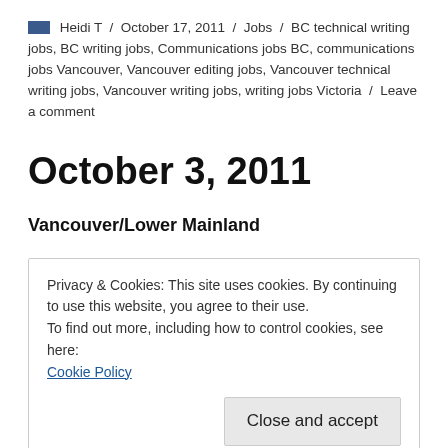Heidi T / October 17, 2011 / Jobs / BC technical writing jobs, BC writing jobs, Communications jobs BC, communications jobs Vancouver, Vancouver editing jobs, Vancouver technical writing jobs, Vancouver writing jobs, writing jobs Victoria / Leave a comment
October 3, 2011
Vancouver/Lower Mainland
Privacy & Cookies: This site uses cookies. By continuing to use this website, you agree to their use.
To find out more, including how to control cookies, see here:
Cookie Policy
Close and accept